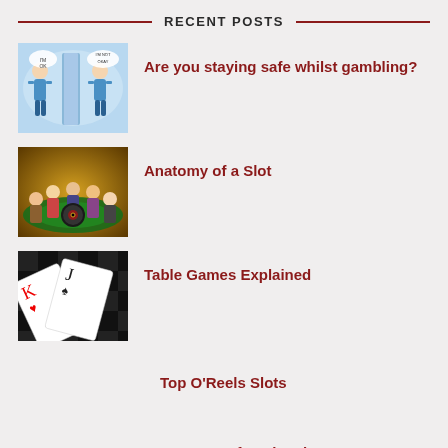RECENT POSTS
[Figure (illustration): Cartoon illustration of two characters, one appearing okay and one appearing not okay, standing near a pillar]
Are you staying safe whilst gambling?
[Figure (illustration): Animated/illustrated scene of people gathered around a casino roulette table]
Anatomy of a Slot
[Figure (illustration): Photo of playing cards (King of Hearts visible) on a black and white checkered surface]
Table Games Explained
Top O'Reels Slots
Top Pots of Lucks Slots